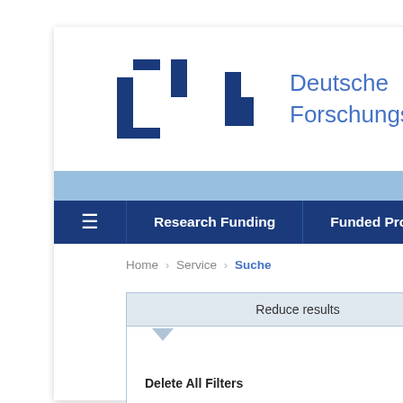[Figure (logo): DFG Deutsche Forschungsgemeinschaft logo with blue block letters and blue text]
Home › Service › Suche
Reduce results
Delete All Filters
All
Your Search yielde
Your Selected Filter
2010   Press   DF